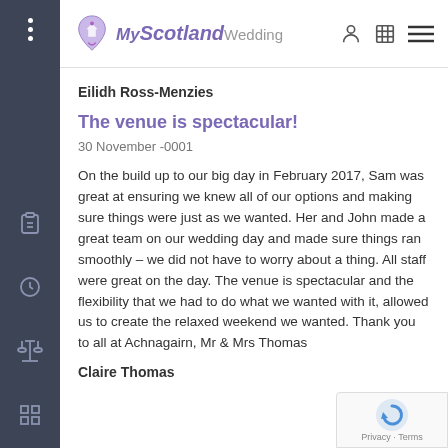My Scotland Wedding
Eilidh Ross-Menzies
The venue is spectacular!
30 November -0001
On the build up to our big day in February 2017, Sam was great at ensuring we knew all of our options and making sure things were just as we wanted. Her and John made a great team on our wedding day and made sure things ran smoothly – we did not have to worry about a thing. All staff were great on the day. The venue is spectacular and the flexibility that we had to do what we wanted with it, allowed us to create the relaxed weekend we wanted. Thank you to all at Achnagairn, Mr & Mrs Thomas
Claire Thomas